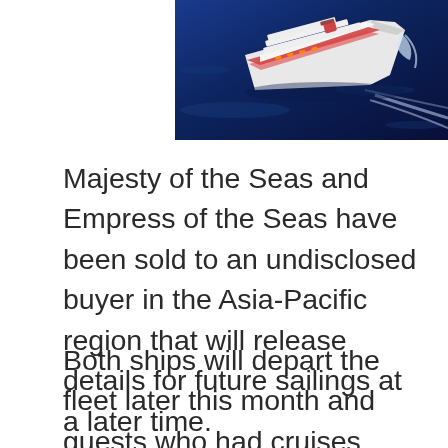[Figure (photo): Aerial view of a large white cruise ship sailing through dark blue ocean water, viewed from above and slightly behind the ship's bow.]
Majesty of the Seas and Empress of the Seas have been sold to an undisclosed buyer in the Asia-Pacific region that will release details for future sailings at a later time.
Both ships will depart the fleet later this month and guests who had cruises booked on either vessel will be contacted with their options for rebooking or